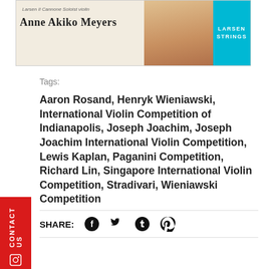[Figure (photo): Advertisement banner for Larsen Il Cannone Soloist violin strings featuring Anne Akiko Meyers with Larsen Strings logo]
Tags:
Aaron Rosand, Henryk Wieniawski, International Violin Competition of Indianapolis, Joseph Joachim, Joseph Joachim International Violin Competition, Lewis Kaplan, Paganini Competition, Richard Lin, Singapore International Violin Competition, Stradivari, Wieniawski Competition
SHARE: